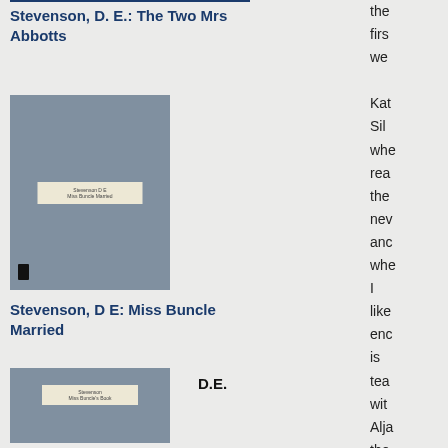Stevenson, D. E.: The Two Mrs Abbotts
[Figure (photo): Book cover for Stevenson D E Miss Buncle Married, grey cover with label]
Stevenson, D E: Miss Buncle Married
D.E.
[Figure (photo): Book cover for Stevenson Miss Buncle's Book, grey cover with label]
Stevenson: Miss Buncle's Book
the firs we Kat Sil whe rea the nev anc whe I like enc is tea wit Alja the nic ma on